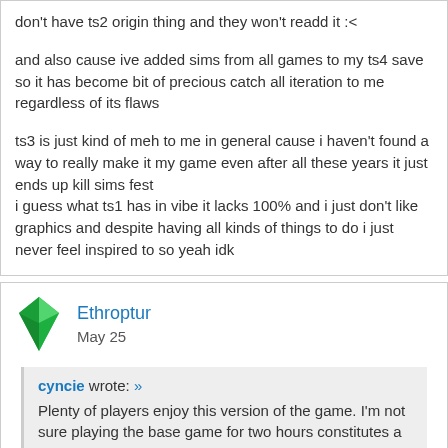don't have ts2 origin thing and they won't readd it :<
and also cause ive added sims from all games to my ts4 save so it has become bit of precious catch all iteration to me regardless of its flaws
ts3 is just kind of meh to me in general cause i haven't found a way to really make it my game even after all these years it just ends up kill sims fest
i guess what ts1 has in vibe it lacks 100% and i just don't like graphics and despite having all kinds of things to do i just never feel inspired to so yeah idk
Ethroptur
May 25
cyncie wrote: »
Plenty of players enjoy this version of the game. I'm not sure playing the base game for two hours constitutes a fair review of the game as it is now.